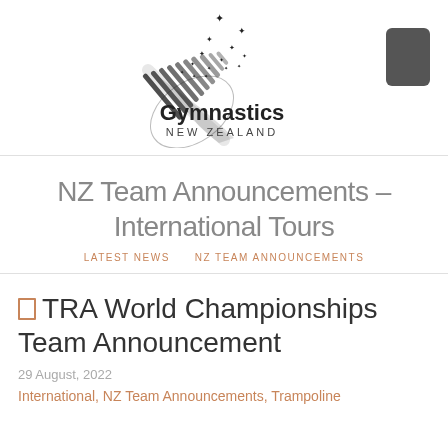[Figure (logo): Gymnastics New Zealand logo with silver fern and stars motif]
NZ Team Announcements - International Tours
LATEST NEWS   NZ TEAM ANNOUNCEMENTS
TRA World Championships Team Announcement
29 August, 2022
International, NZ Team Announcements, Trampoline